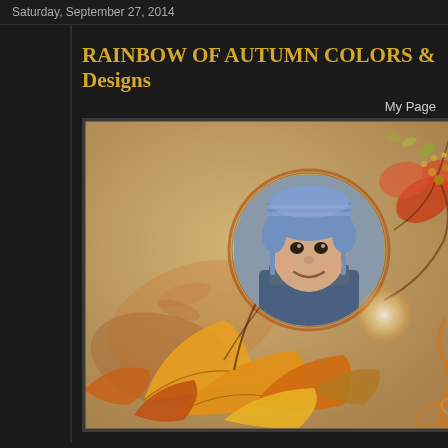Saturday, September 27, 2014
RAINBOW OF AUTUMN COLORS &
Designs
My Page
[Figure (photo): Digital scrapbook page featuring a smiling child wearing a blue knit hat, surrounded by autumn leaves, floral elements, and decorative swirls on a warm golden-brown background.]